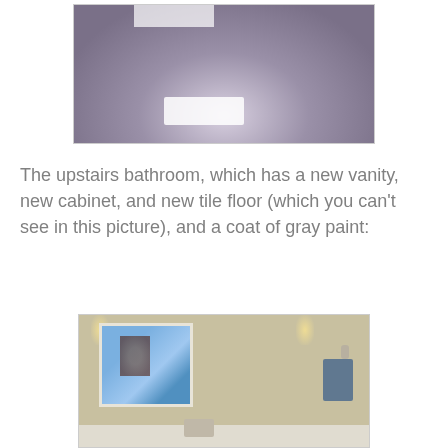[Figure (photo): Partial photo of a carpeted floor with a bright light reflection, carpet appears purple-gray]
The upstairs bathroom, which has a new vanity, new cabinet, and new tile floor (which you can't see in this picture), and a coat of gray paint:
[Figure (photo): Bathroom interior showing a medicine cabinet with mirror, towel bar with blue towel, wall painted gray/tan, and vanity with sink and faucet visible at bottom]